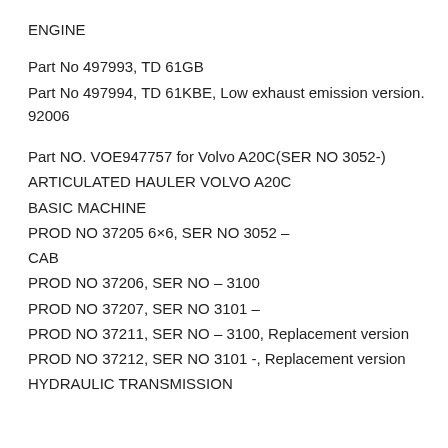ENGINE
Part No 497993, TD 61GB
Part No 497994, TD 61KBE, Low exhaust emission version. 92006
Part NO. VOE947757 for Volvo A20C(SER NO 3052-)
ARTICULATED HAULER VOLVO A20C
BASIC MACHINE
PROD NO 37205 6×6, SER NO 3052 –
CAB
PROD NO 37206, SER NO – 3100
PROD NO 37207, SER NO 3101 –
PROD NO 37211, SER NO – 3100, Replacement version
PROD NO 37212, SER NO 3101 -, Replacement version
HYDRAULIC TRANSMISSION